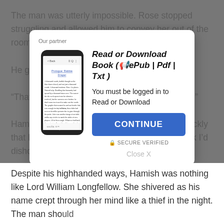The man was utterly impossible. Rose stopped struggling and allowed him to convey her out of the room. “You are causing whispers.”
He glow…
“That’s… at risk.”
Hamish… quickly that Ro… k I’d dishono…
She ope…
“Do you… , bracket… respons…
Rose se… o find the truth…
[Figure (screenshot): Modal dialog overlay on a book reading page. Shows 'Our partner' label, a phone illustration displaying a book page (Prologue: Babbie Draper), title 'Read or Download Book (📢ePub | Pdf | Txt)', subtitle 'You must be logged in to Read or Download', a blue CONTINUE button, SECURE VERIFIED text, and a Close X link.]
Despite his highhanded ways, Hamish was nothing like Lord William Longfellow. She shivered as his name crept through her mind like a thief in the night. The man should…